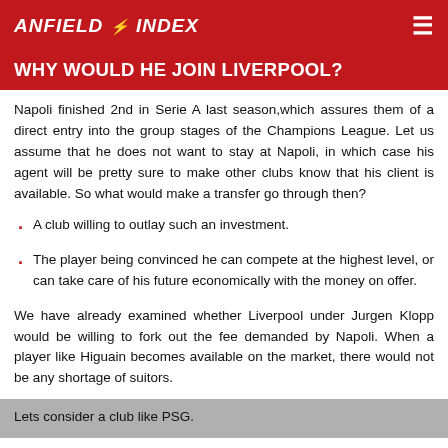ANFIELD INDEX
WHY WOULD HE JOIN LIVERPOOL?
Napoli finished 2nd in Serie A last season,which assures them of a direct entry into the group stages of the Champions League. Let us assume that he does not want to stay at Napoli, in which case his agent will be pretty sure to make other clubs know that his client is available. So what would make a transfer go through then?
A club willing to outlay such an investment.
The player being convinced he can compete at the highest level, or can take care of his future economically with the money on offer.
We have already examined whether Liverpool under Jurgen Klopp would be willing to fork out the fee demanded by Napoli. When a player like Higuain becomes available on the market, there would not be any shortage of suitors. Lets consider a club like PSG.